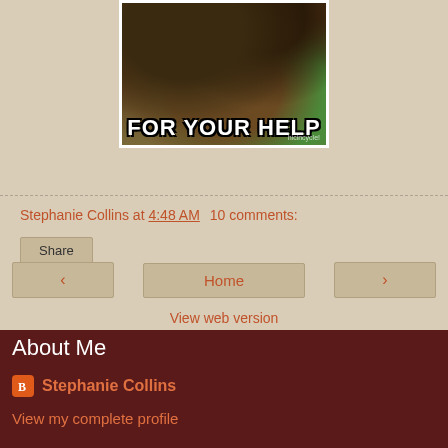[Figure (photo): A sloth meme image showing fur/back of sloth with text 'FOR YOUR HELP' at the bottom and watermark 'hicincycle!']
Stephanie Collins at 4:48 AM   10 comments:
Share
‹   Home   ›
View web version
About Me
Stephanie Collins
View my complete profile